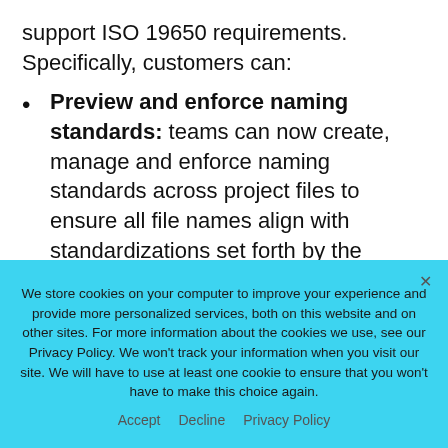support ISO 19650 requirements. Specifically, customers can:
Preview and enforce naming standards: teams can now create, manage and enforce naming standards across project files to ensure all file names align with standardizations set forth by the project team. Document controllers can easily get started with a naming standard
We store cookies on your computer to improve your experience and provide more personalized services, both on this website and on other sites. For more information about the cookies we use, see our Privacy Policy. We won't track your information when you visit our site. We will have to use at least one cookie to ensure that you won't have to make this choice again.
Accept   Decline   Privacy Policy